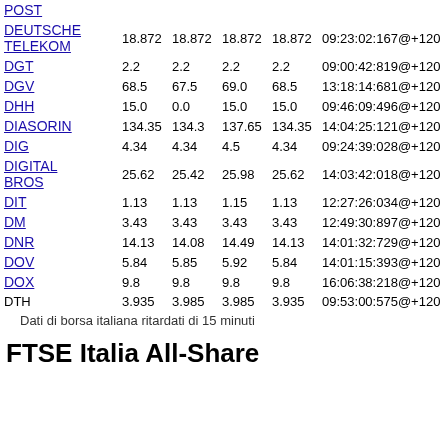| Name | Price | Open | High | Low | Timestamp | Change |
| --- | --- | --- | --- | --- | --- | --- |
| POST |  |  |  |  |  |  |
| DEUTSCHE TELEKOM | 18.872 | 18.872 | 18.872 | 18.872 | 09:23:02:167@+120 | 0 |
| DGT | 2.2 | 2.2 | 2.2 | 2.2 | 09:00:42:819@+120 | -1 |
| DGV | 68.5 | 67.5 | 69.0 | 68.5 | 13:18:14:681@+120 | -1 |
| DHH | 15.0 | 0.0 | 15.0 | 15.0 | 09:46:09:496@+120 | 1 |
| DIASORIN | 134.35 | 134.3 | 137.65 | 134.35 | 14:04:25:121@+120 | -1 |
| DIG | 4.34 | 4.34 | 4.5 | 4.34 | 09:24:39:028@+120 | -4 |
| DIGITAL BROS | 25.62 | 25.42 | 25.98 | 25.62 | 14:03:42:018@+120 | -1 |
| DIT | 1.13 | 1.13 | 1.15 | 1.13 | 12:27:26:034@+120 | -4 |
| DM | 3.43 | 3.43 | 3.43 | 3.43 | 12:49:30:897@+120 | 0 |
| DNR | 14.13 | 14.08 | 14.49 | 14.13 | 14:01:32:729@+120 | -0 |
| DOV | 5.84 | 5.85 | 5.92 | 5.84 | 14:01:15:393@+120 | -0 |
| DOX | 9.8 | 9.8 | 9.8 | 9.8 | 16:06:38:218@+120 | 0 |
| DTH | 3.935 | 3.985 | 3.985 | 3.935 | 09:53:00:575@+120 | 0 |
Dati di borsa italiana ritardati di 15 minuti
FTSE Italia All-Share